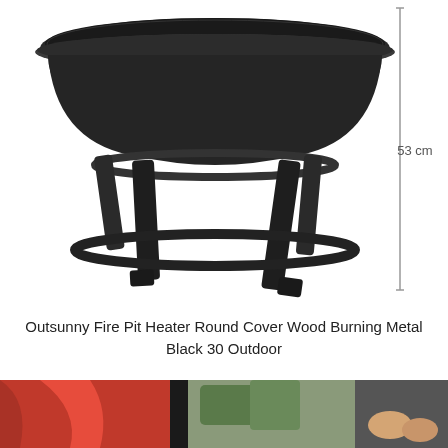[Figure (photo): Black metal round fire pit heater with mesh spark guard lid and four legs, shown from front angle. A vertical measurement line on the right side indicates 53 cm height.]
Outsunny Fire Pit Heater Round Cover Wood Burning Metal Black 30 Outdoor
[Figure (photo): Partial view of people sitting outdoors near a fire pit, showing red clothing and hands, with dark structural elements in the background.]